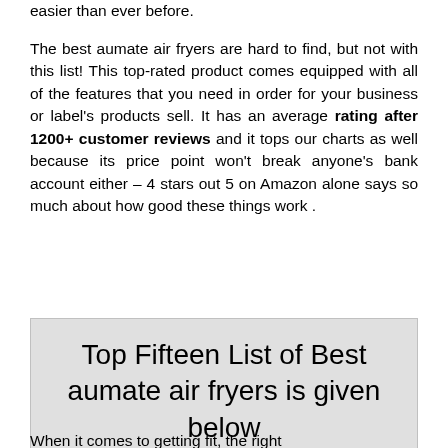easier than ever before.
The best aumate air fryers are hard to find, but not with this list! This top-rated product comes equipped with all of the features that you need in order for your business or label's products sell. It has an average rating after 1200+ customer reviews and it tops our charts as well because its price point won't break anyone's bank account either – 4 stars out 5 on Amazon alone says so much about how good these things work .
Top Fifteen List of Best aumate air fryers is given below
When it comes to getting fit, the right